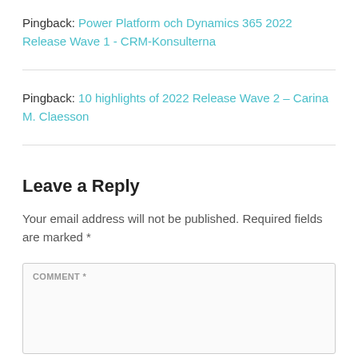Pingback: Power Platform och Dynamics 365 2022 Release Wave 1 - CRM-Konsulterna
Pingback: 10 highlights of 2022 Release Wave 2 – Carina M. Claesson
Leave a Reply
Your email address will not be published. Required fields are marked *
COMMENT *